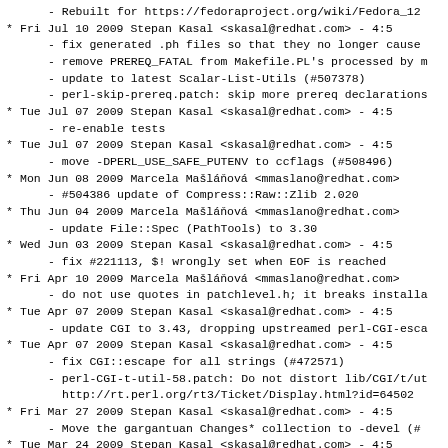- Rebuilt for https://fedoraproject.org/wiki/Fedora_12
* Fri Jul 10 2009 Stepan Kasal <skasal@redhat.com> - 4:5
  - fix generated .ph files so that they no longer cause
  - remove PREREQ_FATAL from Makefile.PL's processed by m
  - update to latest Scalar-List-Utils (#507378)
  - perl-skip-prereq.patch: skip more prereq declarations
* Tue Jul 07 2009 Stepan Kasal <skasal@redhat.com> - 4:5
  - re-enable tests
* Tue Jul 07 2009 Stepan Kasal <skasal@redhat.com> - 4:5
  - move -DPERL_USE_SAFE_PUTENV to ccflags (#508496)
* Mon Jun 08 2009 Marcela Mašláňová <mmaslano@redhat.com>
  - #504386 update of Compress::Raw::Zlib 2.020
* Thu Jun 04 2009 Marcela Mašláňová <mmaslano@redhat.com>
  - update File::Spec (PathTools) to 3.30
* Wed Jun 03 2009 Stepan Kasal <skasal@redhat.com> - 4:5
  - fix #221113, $! wrongly set when EOF is reached
* Fri Apr 10 2009 Marcela Mašláňová <mmaslano@redhat.com>
  - do not use quotes in patchlevel.h; it breaks installa
* Tue Apr 07 2009 Stepan Kasal <skasal@redhat.com> - 4:5
  - update CGI to 3.43, dropping upstreamed perl-CGI-esca
* Tue Apr 07 2009 Stepan Kasal <skasal@redhat.com> - 4:5
  - fix CGI::escape for all strings (#472571)
  - perl-CGI-t-util-58.patch: Do not distort lib/CGI/t/ut
    http://rt.perl.org/rt3/Ticket/Display.html?id=64502
* Fri Mar 27 2009 Stepan Kasal <skasal@redhat.com> - 4:5
  - Move the gargantuan Changes* collection to -devel (#
* Tue Mar 24 2009 Stepan Kasal <skasal@redhat.com> - 4:5
  - update module autodie
* Mon Mar 23 2009 Stepan Kasal <skasal@redhat.com> - 4:5
  - update Digest::SHA (fixes 489221)
* Wed Mar 11 2009 Tom "spot" Calloway <tcallous@redhat.c